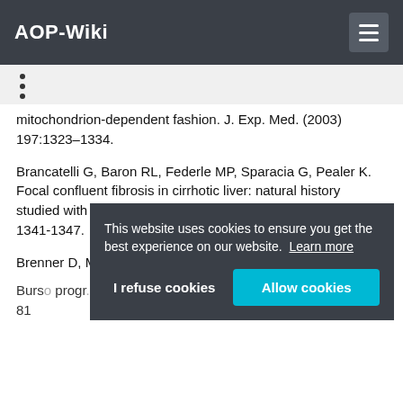AOP-Wiki
•
•
•
mitochondrion-dependent fashion. J. Exp. Med. (2003) 197:1323–1334.
Brancatelli G, Baron RL, Federle MP, Sparacia G, Pealer K. Focal confluent fibrosis in cirrhotic liver: natural history studied with serial CT. AJR Am. J. Roentgenol. (2009) 192 (5): 1341-1347.
Brenner D, Mak TW. Mitochondrial cell death effectors. Curr.
Burso... progr... 81
This website uses cookies to ensure you get the best experience on our website.  Learn more
I refuse cookies
Allow cookies